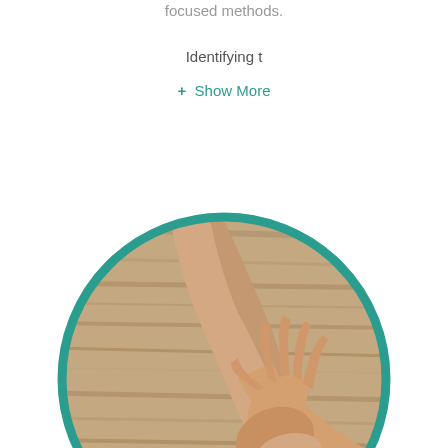focused methods.
Identifying t
+ Show More
[Figure (photo): Two people holding hands over a wooden table surface, viewed from above, inside a circular frame with a teal border. Suggests support or connection.]